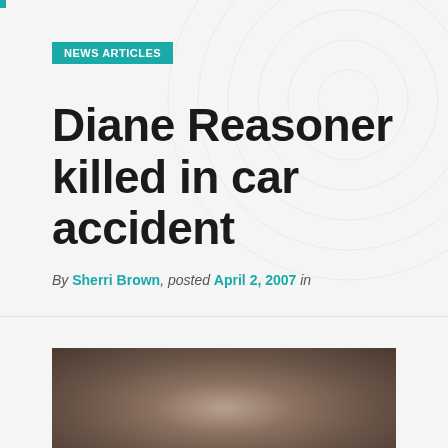NEWS ARTICLES
Diane Reasoner killed in car accident
By Sherri Brown, posted April 2, 2007 in
[Figure (photo): Photograph of Diane Reasoner, partially cropped at bottom of page, showing a person with light hair against a dark background]